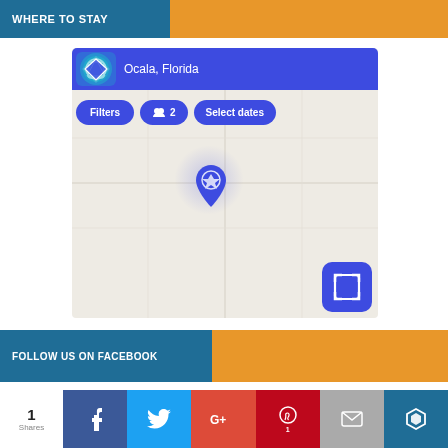WHERE TO STAY
[Figure (screenshot): Hotel booking widget showing Ocala, Florida search with Filters, 2 guests, and Select dates buttons, and a map view with a location pin and fullscreen button]
FOLLOW US ON FACEBOOK
1 Shares
[Figure (infographic): Social share bar with Facebook, Twitter, Google+, Pinterest, Email, and Kinja buttons]